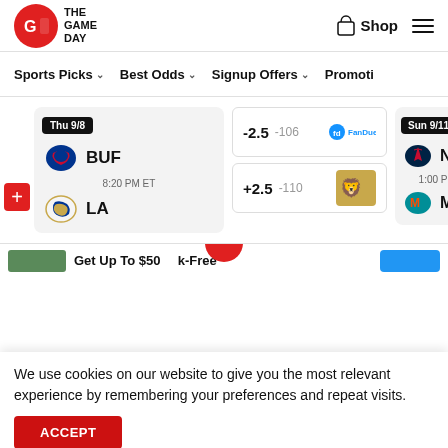THE GAME DAY | Shop
Sports Picks ∨   Best Odds ∨   Signup Offers ∨   Promotions
[Figure (screenshot): NFL game odds card for Thu 9/8: BUF vs LA at 8:20 PM ET. BUF odds: -2.5 -106 (FanDuel), LA odds: +2.5 -110 (Bet365). Partial right card for Sun 9/11: NE vs MIA at 1:00 PM ET.]
Get Up To $50...k-Free
We use cookies on our website to give you the most relevant experience by remembering your preferences and repeat visits.
ACCEPT